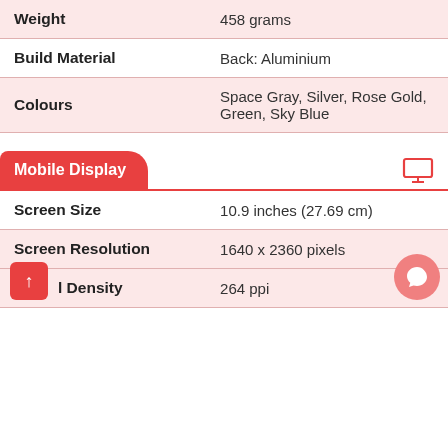| Specification | Value |
| --- | --- |
| Weight | 458 grams |
| Build Material | Back: Aluminium |
| Colours | Space Gray, Silver, Rose Gold, Green, Sky Blue |
Mobile Display
| Specification | Value |
| --- | --- |
| Screen Size | 10.9 inches (27.69 cm) |
| Screen Resolution | 1640 x 2360 pixels |
| Pixel Density | 264 ppi |